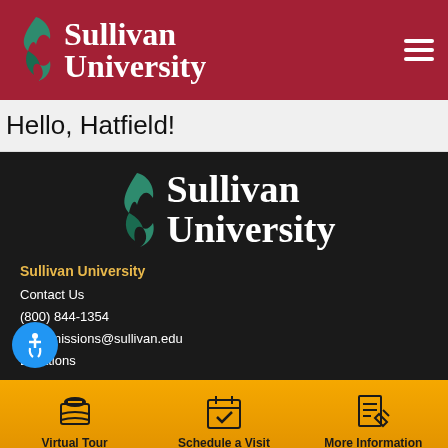[Figure (logo): Sullivan University logo with green flame icon and white serif text on dark red background, with hamburger menu icon top right]
Hello, Hatfield!
[Figure (logo): Sullivan University logo with green flame icon and white serif text on dark background]
Sullivan University
Contact Us
(800) 844-1354
slvadmissions@sullivan.edu
Locations
[Figure (infographic): Bottom navigation bar with three items: Virtual Tour (box icon), Schedule a Visit (calendar icon), More Information (pencil/paper icon) on gold/amber background]